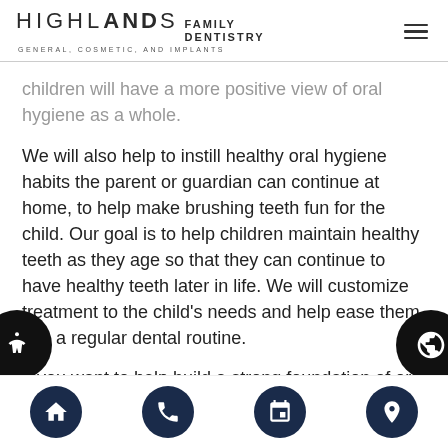Highlands Family Dentistry — General, Cosmetic, and Implants
children will have a more positive view of oral hygiene as a whole.
We will also help to instill healthy oral hygiene habits the parent or guardian can continue at home, to help make brushing teeth fun for the child. Our goal is to help children maintain healthy teeth as they age so that they can continue to have healthy teeth later in life. We will customize treatment to the child's needs and help ease them into a regular dental routine.
If you want to help build a strong foundation of oral health in your child, contact us and schedule an